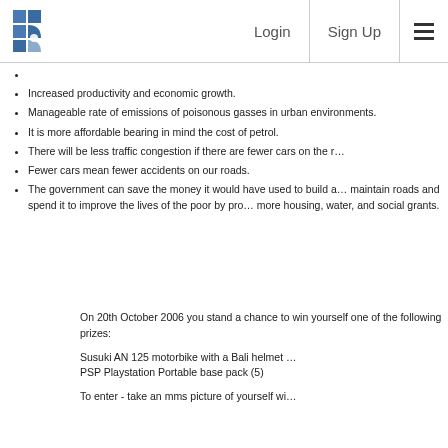Login  Sign Up
Increased productivity and economic growth.
Manageable rate of emissions of poisonous gasses in urban environments.
It is more affordable bearing in mind the cost of petrol.
There will be less traffic congestion if there are fewer cars on the r…
Fewer cars mean fewer accidents on our roads.
The government can save the money it would have used to build a… maintain roads and spend it to improve the lives of the poor by pro… more housing, water, and social grants.
On 20th October 2006 you stand a chance to win yourself one of the following prizes:
Susuki AN 125 motorbike with a Bali helmet …
PSP Playstation Portable base pack (5)
To enter - take an mms picture of yourself wi…